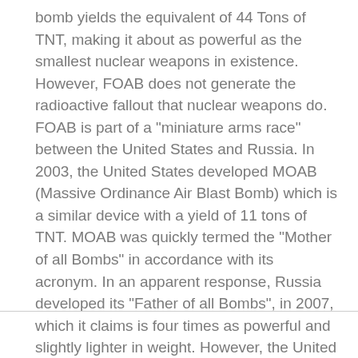bomb yields the equivalent of 44 Tons of TNT, making it about as powerful as the smallest nuclear weapons in existence. However, FOAB does not generate the radioactive fallout that nuclear weapons do. FOAB is part of a "miniature arms race" between the United States and Russia. In 2003, the United States developed MOAB (Massive Ordinance Air Blast Bomb) which is a similar device with a yield of 11 tons of TNT. MOAB was quickly termed the "Mother of all Bombs" in accordance with its acronym. In an apparent response, Russia developed its "Father of all Bombs", in 2007, which it claims is four times as powerful and slightly lighter in weight. However, the United States Military is dubious of these claims, and says that it is very possible that the film that Russia released of the test was doctored, and that several of the "facts" about the bomb were exaggerated for propaganda purposes.